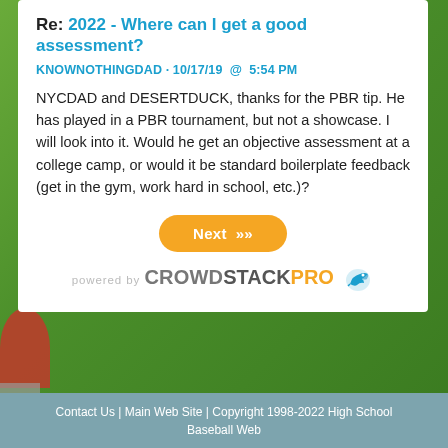Re: 2022 - Where can I get a good assessment?
KNOWNOTHINGDAD · 10/17/19  @  5:54 PM
NYCDAD and DESERTDUCK, thanks for the PBR tip. He has played in a PBR tournament, but not a showcase. I will look into it. Would he get an objective assessment at a college camp, or would it be standard boilerplate feedback (get in the gym, work hard in school, etc.)?
[Figure (other): Next button - orange rounded rectangle with text 'Next >>']
[Figure (logo): powered by CROWDSTACKPRO with bird icon]
Contact Us | Main Web Site | Copyright 1998-2022 High School Baseball Web